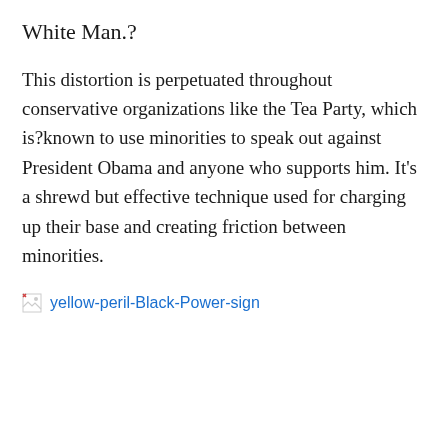White Man.?
This distortion is perpetuated throughout conservative organizations like the Tea Party, which is?known to use minorities to speak out against President Obama and anyone who supports him. It’s a shrewd but effective technique used for charging up their base and creating friction between minorities.
[Figure (photo): Broken image placeholder with alt text 'yellow-peril-Black-Power-sign' shown as a broken image icon and blue hyperlink text]